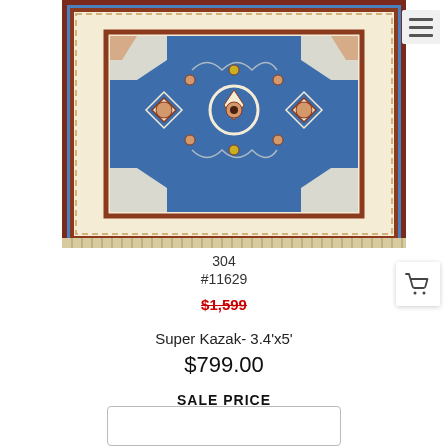[Figure (photo): A blue Oriental/Kazak rug with intricate floral and geometric patterns, cream border with red accents, shown from above on a white background.]
304
#11629
$1,599
Super Kazak- 3.4'x5'
$799.00
SALE PRICE